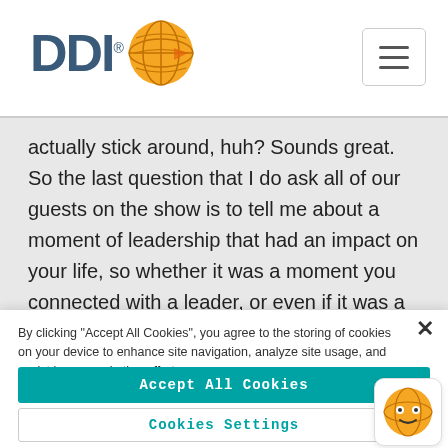[Figure (logo): DDI logo with orange globe icon and hamburger menu button in top right]
actually stick around, huh? Sounds great. So the last question that I do ask all of our guests on the show is to tell me about a moment of leadership that had an impact on your life, so whether it was a moment you connected with a leader, or even if it was a bad moment where you really didn't connect. Something that either inspired you or helped you to realize that you wanted to do things differently. I'm curious to hear
By clicking "Accept All Cookies", you agree to the storing of cookies on your device to enhance site navigation, analyze site usage, and assist in our marketing efforts.
Accept All Cookies
Cookies Settings